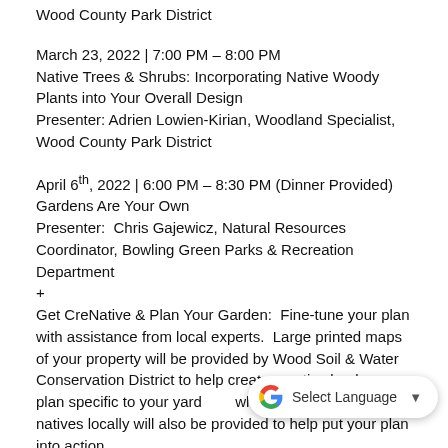Wood County Park District
March 23, 2022 | 7:00 PM – 8:00 PM
Native Trees & Shrubs: Incorporating Native Woody Plants into Your Overall Design
Presenter: Adrien Lowien-Kirian, Woodland Specialist, Wood County Park District
April 6th, 2022 | 6:00 PM – 8:30 PM (Dinner Provided)
Gardens Are Your Own
Presenter:  Chris Gajewicz, Natural Resources Coordinator, Bowling Green Parks & Recreation Department
+
Get CreNative & Plan Your Garden:  Fine-tune your plan with assistance from local experts.  Large printed maps of your property will be provided by Wood Soil & Water Conservation District to help create a native landscape plan specific to your yard. ... where and when to buy natives locally will also be provided to help put your plan into action.